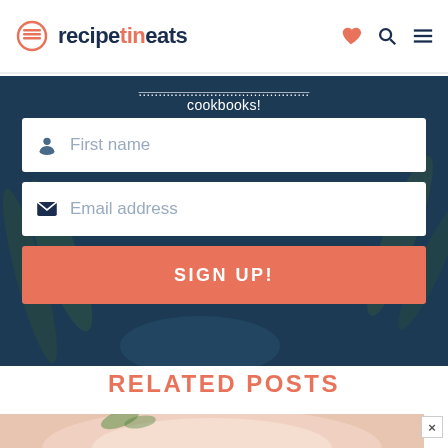recipetineats
cookbooks!
First name
Email address
SIGN UP!
RELATED POSTS
[Figure (photo): Bottom portion of a food photo, likely showing a bowl or dish with reddish/pinkish food contents, partially visible at the bottom of the page.]